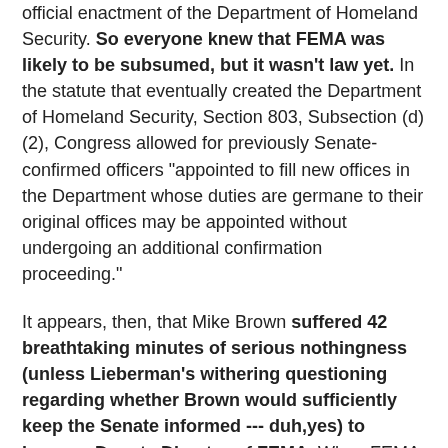official enactment of the Department of Homeland Security. So everyone knew that FEMA was likely to be subsumed, but it wasn't law yet. In the statute that eventually created the Department of Homeland Security, Section 803, Subsection (d)(2), Congress allowed for previously Senate-confirmed officers "appointed to fill new offices in the Department whose duties are germane to their original offices may be appointed without undergoing an additional confirmation proceeding."
It appears, then, that Mike Brown suffered 42 breathtaking minutes of serious nothingness (unless Lieberman's withering questioning regarding whether Brown would sufficiently keep the Senate informed --- duh,yes) to become Deputy Director of FEMA. When FEMA was, just a few months later, subsumed into DHS, Brown didn't need to be Senate confirmed as his new position -- technically as Under Secretary of Homeland Security for Emergency Preparedness and Response...